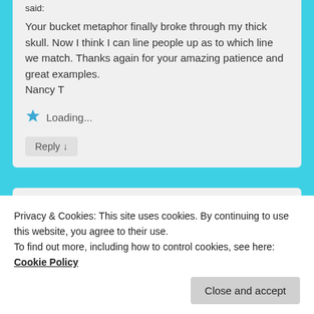said:
Your bucket metaphor finally broke through my thick skull. Now I think I can line people up as to which line we match. Thanks again for your amazing patience and great examples.
Nancy T
Loading...
Reply ↓
[Figure (logo): A stylized logo with geometric arrow/mountain shapes in dark blue and white stripes]
Privacy & Cookies: This site uses cookies. By continuing to use this website, you agree to their use.
To find out more, including how to control cookies, see here: Cookie Policy
Close and accept